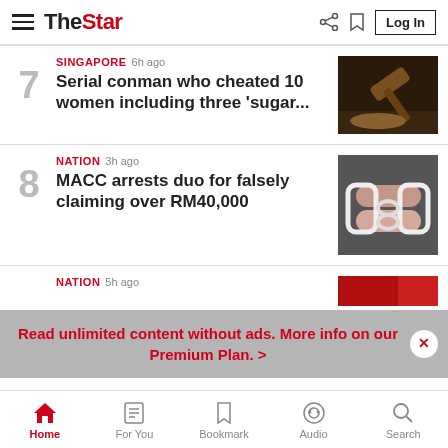The Star — Log In
7 — SINGAPORE 6h ago — Serial conman who cheated 10 women including three 'sugar...
8 — NATION 3h ago — MACC arrests duo for falsely claiming over RM40,000
9 — NATION 5h ago
Read unlimited content without ads. More info on our Premium Plan. >
Home | For You | Bookmark | Audio | Search